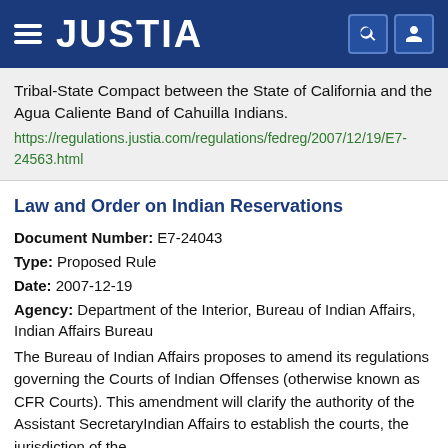JUSTIA
Tribal-State Compact between the State of California and the Agua Caliente Band of Cahuilla Indians.
https://regulations.justia.com/regulations/fedreg/2007/12/19/E7-24563.html
Law and Order on Indian Reservations
Document Number: E7-24043
Type: Proposed Rule
Date: 2007-12-19
Agency: Department of the Interior, Bureau of Indian Affairs, Indian Affairs Bureau
The Bureau of Indian Affairs proposes to amend its regulations governing the Courts of Indian Offenses (otherwise known as CFR Courts). This amendment will clarify the authority of the Assistant SecretaryIndian Affairs to establish the courts, the jurisdiction of the